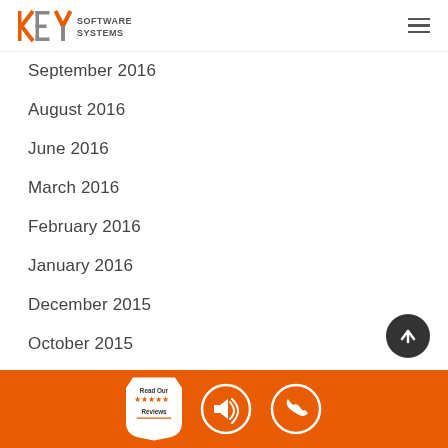KEY SOFTWARE SYSTEMS
September 2016
August 2016
June 2016
March 2016
February 2016
January 2016
December 2015
October 2015
September 2015
August 2015
Read Our Reviews | megaphone icon | phone icon